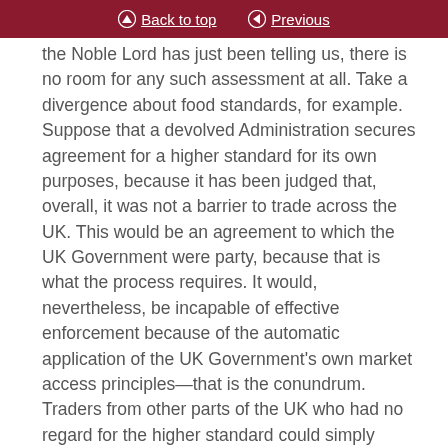Back to top | Previous
the Noble Lord has just been telling us, there is no room for any such assessment at all. Take a divergence about food standards, for example. Suppose that a devolved Administration secures agreement for a higher standard for its own purposes, because it has been judged that, overall, it was not a barrier to trade across the UK. This would be an agreement to which the UK Government were party, because that is what the process requires. It would, nevertheless, be incapable of effective enforcement because of the automatic application of the UK Government’s own market access principles—that is the conundrum. Traders from other parts of the UK who had no regard for the higher standard could simply ignore it, irrespective of how simple and easy it was to comply